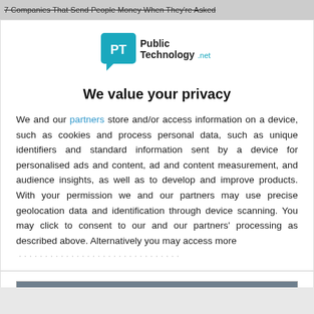7 Companies That Send People Money When They're Asked
[Figure (logo): PublicTechnology.net logo — teal speech-bubble icon with 'PT' and text 'Public Technology.net']
We value your privacy
We and our partners store and/or access information on a device, such as cookies and process personal data, such as unique identifiers and standard information sent by a device for personalised ads and content, ad and content measurement, and audience insights, as well as to develop and improve products. With your permission we and our partners may use precise geolocation data and identification through device scanning. You may click to consent to our and our partners' processing as described above. Alternatively you may access more
AGREE
MORE OPTIONS